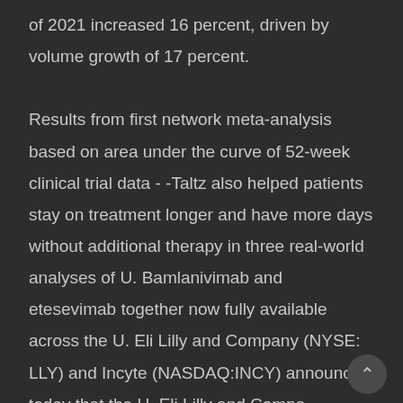of 2021 increased 16 percent, driven by volume growth of 17 percent. Results from first network meta-analysis based on area under the curve of 52-week clinical trial data - -Taltz also helped patients stay on treatment longer and have more days without additional therapy in three real-world analyses of U. Bamlanivimab and etesevimab together now fully available across the U. Eli Lilly and Company (NYSE: LLY) and Incyte (NASDAQ:INCY) announced today that the U. Eli Lilly and Company (NYSE: LLY) and Biolojic Design Ltd. Rau succeeds Aarti